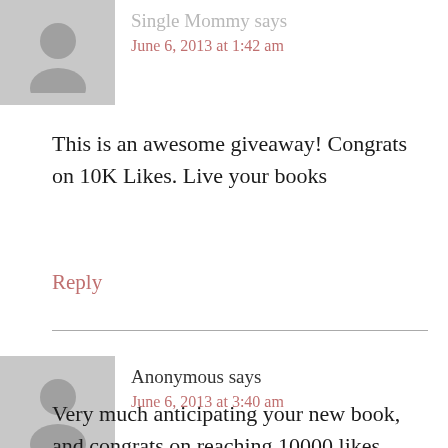[Figure (illustration): Gray avatar silhouette placeholder image for first commenter]
Single Mommy says
June 6, 2013 at 1:42 am
This is an awesome giveaway! Congrats on 10K Likes. Live your books
Reply
[Figure (illustration): Gray avatar silhouette placeholder image for Anonymous commenter]
Anonymous says
June 6, 2013 at 3:40 am
Very much anticipating your new book, and congrats on reaching 10000 likes.